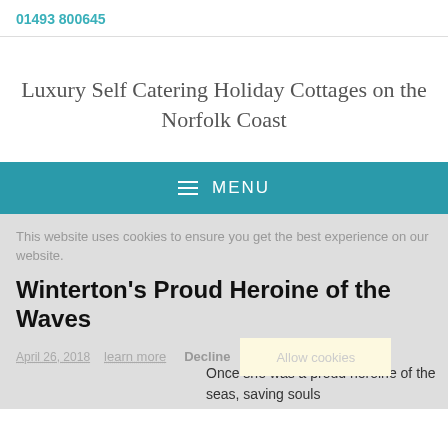01493 800645
Luxury Self Catering Holiday Cottages on the Norfolk Coast
MENU
This website uses cookies to ensure you get the best experience on our website. learn more
Decline   Allow cookies
Winterton's Proud Heroine of the Waves
April 26, 2018
Once she was a proud heroine of the seas, saving souls